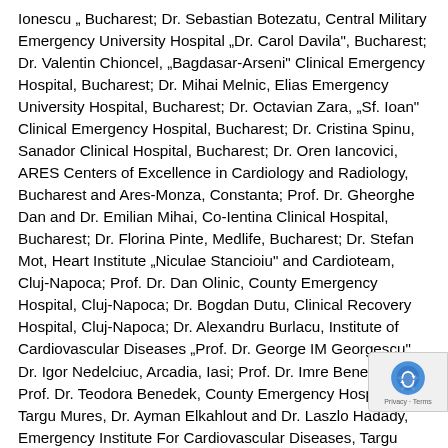Ionescu „ Bucharest; Dr. Sebastian Botezatu, Central Military Emergency University Hospital „Dr. Carol Davila", Bucharest; Dr. Valentin Chioncel, „Bagdasar-Arseni" Clinical Emergency Hospital, Bucharest; Dr. Mihai Melnic, Elias Emergency University Hospital, Bucharest; Dr. Octavian Zara, „Sf. Ioan" Clinical Emergency Hospital, Bucharest; Dr. Cristina Spinu, Sanador Clinical Hospital, Bucharest; Dr. Oren Iancovici, ARES Centers of Excellence in Cardiology and Radiology, Bucharest and Ares-Monza, Constanta; Prof. Dr. Gheorghe Dan and Dr. Emilian Mihai, Co-Ientina Clinical Hospital, Bucharest; Dr. Florina Pinte, Medlife, Bucharest; Dr. Stefan Mot, Heart Institute „Niculae Stancioiu" and Cardioteam, Cluj-Napoca; Prof. Dr. Dan Olinic, County Emergency Hospital, Cluj-Napoca; Dr. Bogdan Dutu, Clinical Recovery Hospital, Cluj-Napoca; Dr. Alexandru Burlacu, Institute of Cardiovascular Diseases „Prof. Dr. George IM Georgescu", Dr. Igor Nedelciuc, Arcadia, Iasi; Prof. Dr. Imre Benedek and Prof. Dr. Teodora Benedek, County Emergency Hospital, Targu Mures, Dr. Ayman Elkahlout and Dr. Laszlo Hadady, Emergency Institute For Cardiovascular Diseases, Targu Mures; Conf. Dr. Ioan Tilea, Nova-Vita, Targu Mures; Conf. Cristian Mornos, Institute Of Cardiovascular Disease, Timisoara; Dr. Milovan Slovenski, Cardismed, Timisoara; Dr.